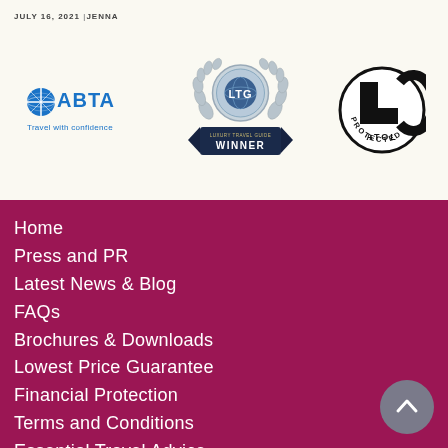JULY 16, 2021 | JENNA
[Figure (logo): ABTA Travel with confidence logo - blue circular compass/globe icon with ABTA text and 'Travel with confidence' tagline]
[Figure (logo): LTG (Luxury Travel Guide) Award Winner badge - silver laurel wreath with globe and WINNER ribbon banner]
[Figure (logo): ATOL Protected circular badge - black and white with L-shaped ATOL logo and PROTECTED text]
Home
Press and PR
Latest News & Blog
FAQs
Brochures & Downloads
Lowest Price Guarantee
Financial Protection
Terms and Conditions
Essential Travel Advice